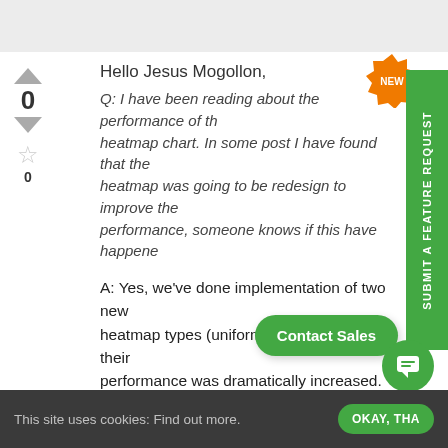Hello Jesus Mogollon,
Q: I have been reading about the performance of the heatmap chart. In some post I have found that the heatmap was going to be redesign to improve the performance, someone knows if this have happened?
A: Yes, we've done implementation of two new heatmap types (uniform and nonuniform), their performance was dramatically increased.
All this changes were made in our v... to release soon. Our examples for v... here.
This site uses cookies: Find out more.